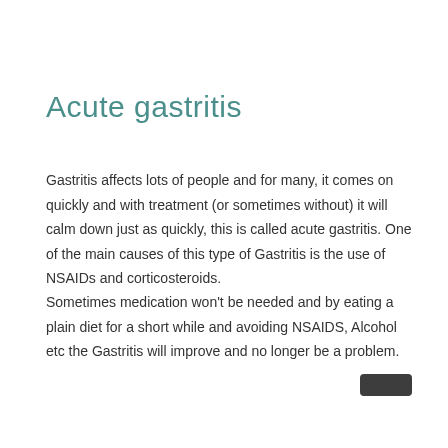Acute gastritis
Gastritis affects lots of people and for many, it comes on quickly and with treatment (or sometimes without) it will calm down just as quickly, this is called acute gastritis. One of the main causes of this type of Gastritis is the use of NSAIDs and corticosteroids.
Sometimes medication won’t be needed and by eating a plain diet for a short while and avoiding NSAIDS, Alcohol etc the Gastritis will improve and no longer be a problem.